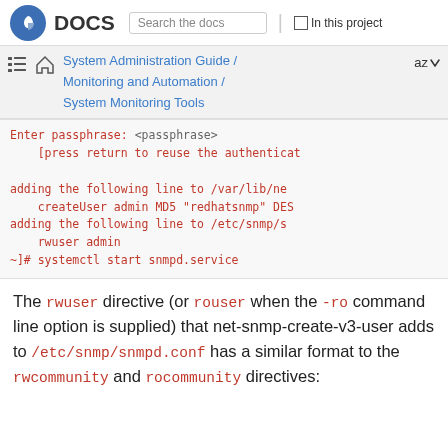DOCS | Search the docs | In this project
System Administration Guide / Monitoring and Automation / System Monitoring Tools | az
Enter passphrase:
    [press return to reuse the authenticat
adding the following line to /var/lib/ne
    createUser admin MD5 "redhatsnmp" DES
adding the following line to /etc/snmp/s
    rwuser admin
~]# systemctl start snmpd.service
The rwuser directive (or rouser when the -ro command line option is supplied) that net-snmp-create-v3-user adds to /etc/snmp/snmpd.conf has a similar format to the rwcommunity and rocommunity directives: